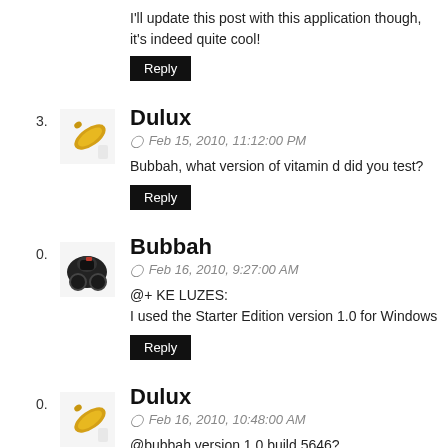I'll update this post with this application though, it's indeed quite cool!
Reply
Dulux
Feb 15, 2010, 11:12:00 PM
Bubbah, what version of vitamin d did you test?
Reply
Bubbah
Feb 16, 2010, 9:27:00 AM
@+ KE LUZES:
I used the Starter Edition version 1.0 for Windows
Reply
Dulux
Feb 16, 2010, 10:48:00 AM
@bubbah version 1.0 build 5646?